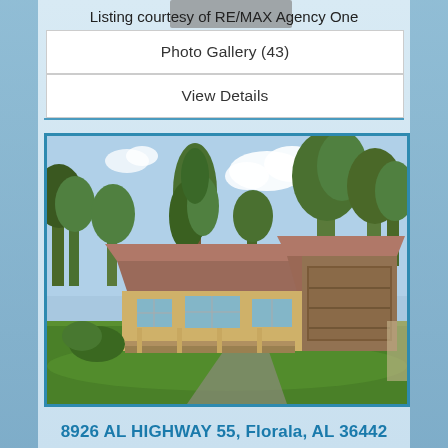Listing courtesy of RE/MAX Agency One
Photo Gallery (43)
View Details
[Figure (photo): Exterior photo of a single-story ranch house with a brown metal roof, yellow/tan siding, large front porch, attached garage, surrounded by tall trees and green lawn.]
8926 AL HIGHWAY 55, Florala, AL 36442